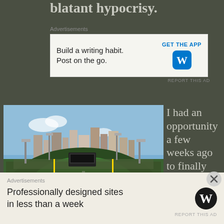blatant hypocrisy.
Advertisements
[Figure (screenshot): Advertisement banner: 'Build a writing habit. Post on the go.' with GET THE APP button and WordPress logo]
[Figure (photo): Aerial view of a baseball stadium (PNC Park, Pittsburgh) packed with fans, showing the field, city skyline in background]
I had an opportunity a few weeks ago to finally attend my
Advertisements
[Figure (screenshot): Advertisement banner: 'Professionally designed sites in less than a week' with WordPress logo]